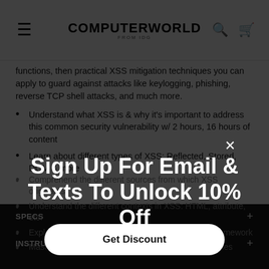COMPUTERWORLD FROM IDG
functions, then practical XSS mitigation techniques you can apply to guard against attacks like keylogging, phishing, reverse TCP shell attacks, and much more.
Understand what XSS is & why it's important to address this common security vulnerability w/ 2 hours, 16 hours of content
Learn about different types of XSS: Reflected, Stored, DOM & more
Comprehend the different sources from which XSS originates
Understand the different contexts in XSS: HTML, attribute, etc.
Exploit XSS w/ the OWASP Xenotix XSS Exploit Framework
Master how to prevent and mitigate XSS vulnerabilities
SPECS
INSTRUCTOR
Sign Up For Email & Texts To Unlock 10% Off
Get Discount